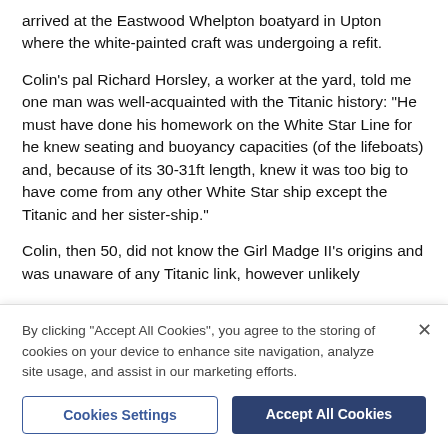arrived at the Eastwood Whelpton boatyard in Upton where the white-painted craft was undergoing a refit.
Colin's pal Richard Horsley, a worker at the yard, told me one man was well-acquainted with the Titanic history: “He must have done his homework on the White Star Line for he knew seating and buoyancy capacities (of the lifeboats) and, because of its 30-31ft length, knew it was too big to have come from any other White Star ship except the Titanic and her sister-ship.”
Colin, then 50, did not know the Girl Madge II’s origins and was unaware of any Titanic link, however unlikely
By clicking “Accept All Cookies”, you agree to the storing of cookies on your device to enhance site navigation, analyze site usage, and assist in our marketing efforts.